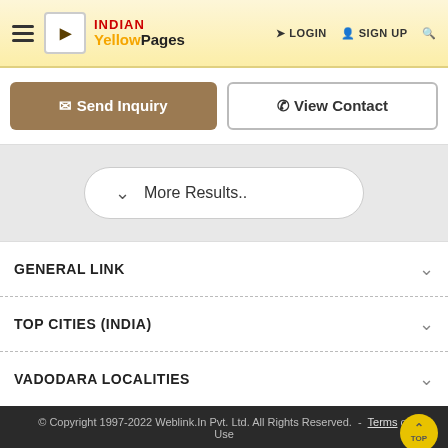INDIAN YellowPages | LOGIN | SIGN UP
Send Inquiry | View Contact
More Results..
GENERAL LINK
TOP CITIES (INDIA)
VADODARA LOCALITIES
© Copyright 1997-2022 Weblink.In Pvt. Ltd. All Rights Reserved. - Terms of Use
FILTER BY LOCALITY